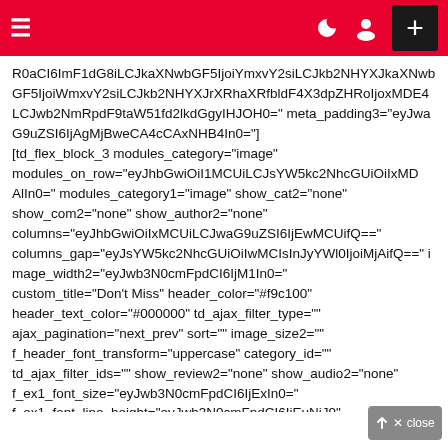Navigation bar with hamburger menu, moon icon, user icon, and plus button
R0aCI6ImF1dG8iLCJkaXNwbGF5IjoiYmxvY2siLCJkb2NHYydHJhaXRfbWF4X3dpZHRoIjoxMDE4LCJwb2NmRpdF9taW51fd2lkdGgyIjkdGgiiFhN2xlfd2lkdGgyIHJOOH0="  meta_padding3="eyJwaG9uZSI6IjAgMjBweCA4cCAxNHB4In0="][td_flex_block_3 modules_category="image" modules_on_row="eyJhbGwiOiI1MCUiLCJsYW5kc2NhcGUiOilxMDAlIiwiQWxIn0=" modules_category1="image" show_cat2="none" show_com2="none" show_author2="none" columns="eyJhbGwiOiIxMCUiLCJwaG9uZSI6IjEwMCUifQ==" columns_gap="eyJsYW5kc2NhcGUiOiIwMCIsInRcyYWl0IjoiMjAifQ==" image_width2="eyJwb3N0cmFpdCI6IjM1In0=" custom_title="Don't Miss" header_color="#f9c100" header_text_color="#000000" td_ajax_filter_type="" ajax_pagination="next_prev" sort="" image_size2="" f_header_font_transform="uppercase" category_id="" td_ajax_filter_ids="" show_review2="none" show_audio2="none" f_ex1_font_size="eyJwb3N0cmFpdCI6IjExIn0=" f_ex1_font_line_height="eyJwb3N0cmFpdCI6IjEuNiJ9" modules_space2="eyJhbGwiOiIyNilsInRyeWFpdCI6IjMwifQ==" modules_space1="eyJhbGwiOilwliwicGhvbmUiOilyMSJ9" meta_padding2="eyJwb3N0cmFpdCI6IjAgMCAwIEzczcHgifQ==